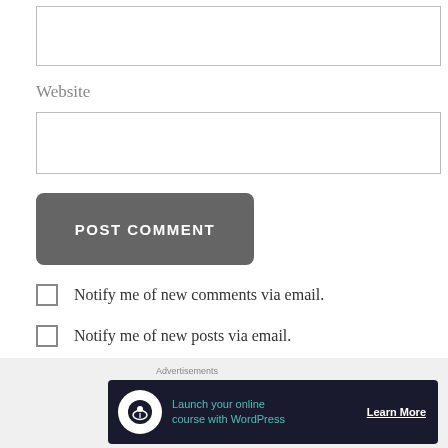[Figure (other): Empty text input box (form field)]
Website
[Figure (other): Empty website input box (form field)]
POST COMMENT
Notify me of new comments via email.
Notify me of new posts via email.
Advertisements
[Figure (infographic): Advertisement banner: 'Launch your online course with WordPress' with Learn More button on dark background]